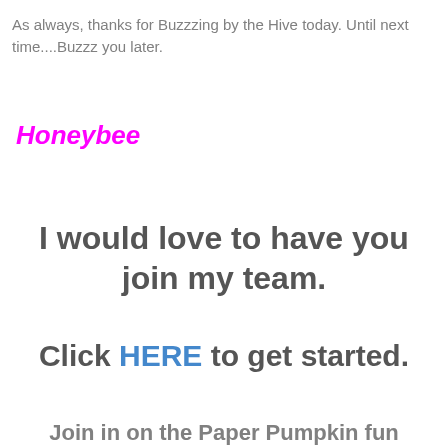As always, thanks for Buzzzing by the Hive today. Until next time....Buzzz you later.
Honeybee
I would love to have you join my team.
Click HERE to get started.
Join in on the Paper Pumpkin fun